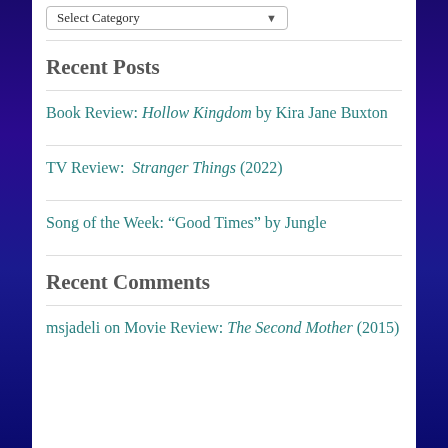Select Category
Recent Posts
Book Review: Hollow Kingdom by Kira Jane Buxton
TV Review: Stranger Things (2022)
Song of the Week: “Good Times” by Jungle
Recent Comments
msjadeli on Movie Review: The Second Mother (2015)